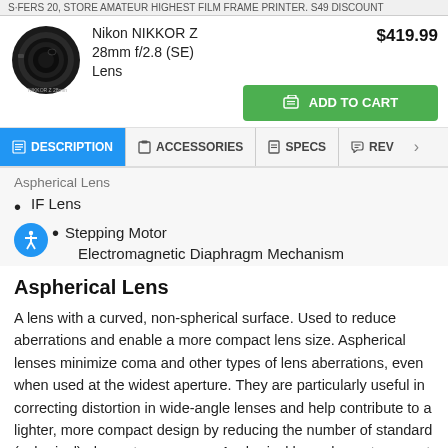S·FERS 20, STORE AMATEUR HIGHEST FILM FRAME PRINTER. S49 DISCOUNT
[Figure (photo): Nikon NIKKOR Z 28mm f/2.8 (SE) Lens product photo, black circular camera lens]
Nikon NIKKOR Z 28mm f/2.8 (SE) Lens
$419.99
ADD TO CART
DESCRIPTION
ACCESSORIES
SPECS
REV
Aspherical Lens
IF Lens
Stepping Motor Electromagnetic Diaphragm Mechanism
Aspherical Lens
A lens with a curved, non-spherical surface. Used to reduce aberrations and enable a more compact lens size. Aspherical lenses minimize coma and other types of lens aberrations, even when used at the widest aperture. They are particularly useful in correcting distortion in wide-angle lenses and help contribute to a lighter, more compact design by reducing the number of standard (spherical) elements necessary. Aspherical lens elements correct these distortions by continuously changing the refractive index from the